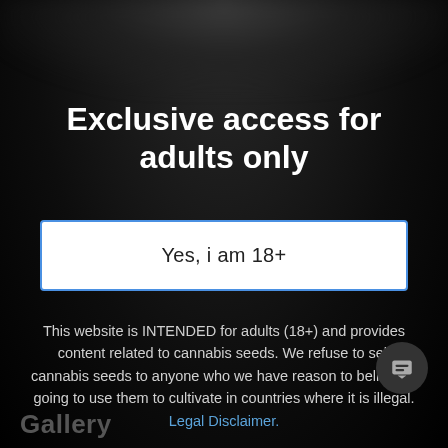Exclusive access for adults only
Yes, i am 18+
This website is INTENDED for adults (18+) and provides content related to cannabis seeds. We refuse to sell cannabis seeds to anyone who we have reason to believe is going to use them to cultivate in countries where it is illegal. Legal Disclaimer.
Gallery